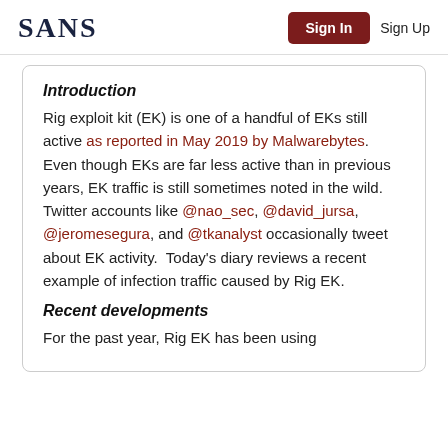SANS | Sign In | Sign Up
Introduction
Rig exploit kit (EK) is one of a handful of EKs still active as reported in May 2019 by Malwarebytes.  Even though EKs are far less active than in previous years, EK traffic is still sometimes noted in the wild.  Twitter accounts like @nao_sec, @david_jursa, @jeromesegura, and @tkanalyst occasionally tweet about EK activity.  Today's diary reviews a recent example of infection traffic caused by Rig EK.
Recent developments
For the past year, Rig EK has been using